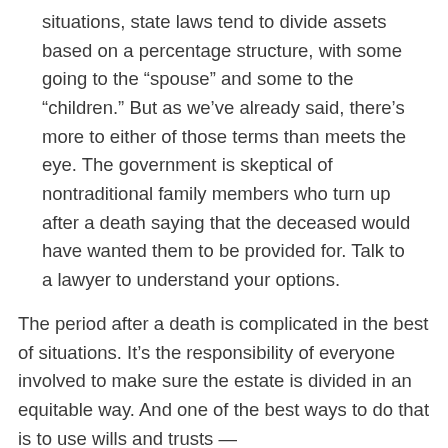situations, state laws tend to divide assets based on a percentage structure, with some going to the “spouse” and some to the “children.” But as we’ve already said, there’s more to either of those terms than meets the eye. The government is skeptical of nontraditional family members who turn up after a death saying that the deceased would have wanted them to be provided for. Talk to a lawyer to understand your options.
The period after a death is complicated in the best of situations. It’s the responsibility of everyone involved to make sure the estate is divided in an equitable way. And one of the best ways to do that is to use wills and trusts —